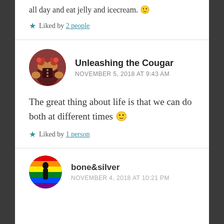all day and eat jelly and icecream. 🙂
★ Liked by 2 people
Unleashing the Cougar
NOVEMBER 5, 2018 AT 9:43 AM
The great thing about life is that we can do both at different times 🙂
★ Liked by 1 person
bone&silver
NOVEMBER 4, 2018 AT 10:21 PM